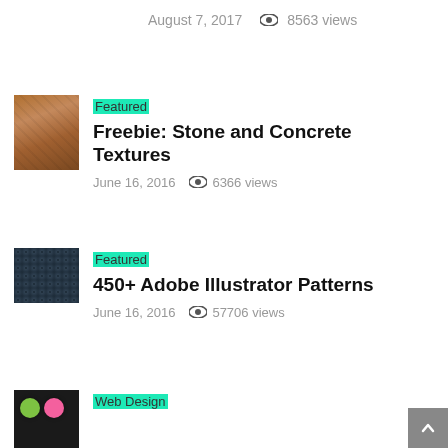August 7, 2017   8563 views
Featured
Freebie: Stone and Concrete Textures
June 16, 2016   6366 views
Featured
450+ Adobe Illustrator Patterns
June 16, 2016   57706 views
Web Design